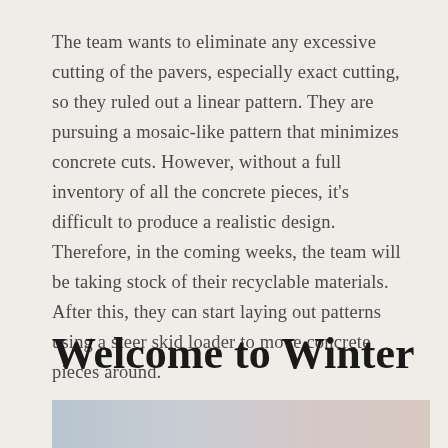The team wants to eliminate any excessive cutting of the pavers, especially exact cutting, so they ruled out a linear pattern. They are pursuing a mosaic-like pattern that minimizes concrete cuts. However, without a full inventory of all the concrete pieces, it's difficult to produce a realistic design. Therefore, in the coming weeks, the team will be taking stock of their recyclable materials. After this, they can start laying out patterns using a steer skid loader to move concrete pieces around.
Welcome to Winter
[Figure (photo): A winter landscape photo, partially visible at the bottom of the page, showing muted blue-grey and pale tones suggesting sky and snow.]